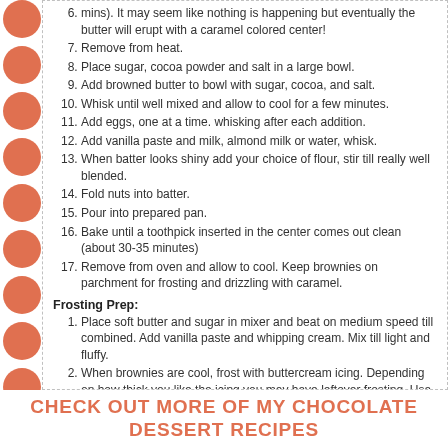6. Remove from heat.
7. Place sugar, cocoa powder and salt in a large bowl.
8. Add browned butter to bowl with sugar, cocoa, and salt.
9. Whisk until well mixed and allow to cool for a few minutes.
10. Add eggs, one at a time. whisking after each addition.
11. Add vanilla paste and milk, almond milk or water, whisk.
12. When batter looks shiny add your choice of flour, stir till really well blended.
13. Fold nuts into batter.
14. Pour into prepared pan.
15. Bake until a toothpick inserted in the center comes out clean (about 30-35 minutes)
16. Remove from oven and allow to cool. Keep brownies on parchment for frosting and drizzling with caramel.
Frosting Prep:
1. Place soft butter and sugar in mixer and beat on medium speed till combined. Add vanilla paste and whipping cream. Mix till light and fluffy.
2. When brownies are cool, frost with buttercream icing. Depending on how thick you like the icing you may have leftover frosting. Usa a spoon to drizzle brownies with caramel, allowing some caramel to drizzle onto parchment first and then onto the brownies. This avoids big pools of caramel on the brownies. Sprinkle lightly with sea salt and reserved chopped pecans.
3. Cut into pie shapes and serve.
CHECK OUT MORE OF MY CHOCOLATE DESSERT RECIPES